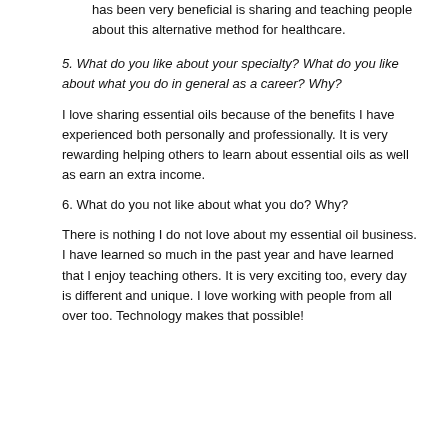has been very beneficial is sharing and teaching people about this alternative method for healthcare.
5. What do you like about your specialty? What do you like about what you do in general as a career? Why?
I love sharing essential oils because of the benefits I have experienced both personally and professionally. It is very rewarding helping others to learn about essential oils as well as earn an extra income.
6. What do you not like about what you do? Why?
There is nothing I do not love about my essential oil business. I have learned so much in the past year and have learned that I enjoy teaching others. It is very exciting too, every day is different and unique. I love working with people from all over too. Technology makes that possible!